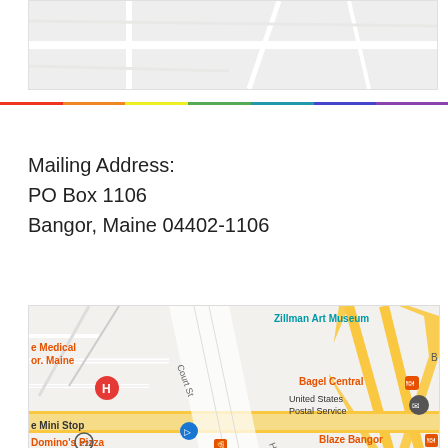[Figure (map): Top portion of a Google Maps view showing a partial street map of Bangor, Maine area (cropped/grey area visible)]
Mailing Address:
PO Box 1106
Bangor, Maine 04402-1106
[Figure (map): Google Maps view of downtown Bangor, Maine showing Zillman Art Museum, Bagel Central, United States Postal Service, Mini Stop, Domino's Pizza, Blaze Bangor, Court St, High St, route 222]